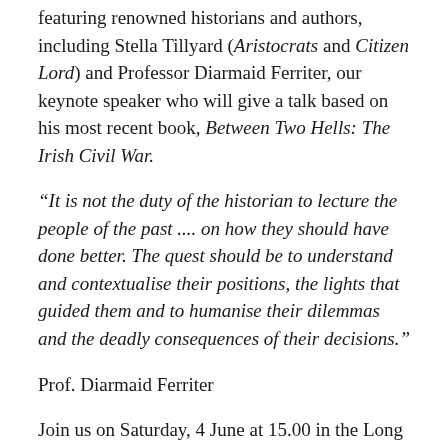featuring renowned historians and authors, including Stella Tillyard (Aristocrats and Citizen Lord) and Professor Diarmaid Ferriter, our keynote speaker who will give a talk based on his most recent book, Between Two Hells: The Irish Civil War.
“It is not the duty of the historian to lecture the people of the past .... on how they should have done better. The quest should be to understand and contextualise their positions, the lights that guided them and to humanise their dilemmas and the deadly consequences of their decisions.”
Prof. Diarmaid Ferriter
Join us on Saturday, 4 June at 15.00 in the Long Gallery, one of the most celebrated rooms in Castletown House, for Stella Tillyard’s talk on ‘The World Turned Upside Down: Lord Edward Fitzgerald, the British Army, and the battle for Irish Freedom’. Bring a picnic and take some time to enjoy the grounds of